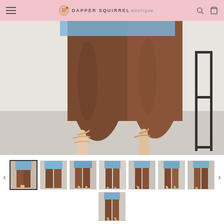Dapper Squirrel Boutique - navigation header
[Figure (photo): Close-up photo of a dark-skinned woman's lower legs and feet wearing strappy nude heeled sandals and denim shorts, standing on a light floor with a black metal furniture piece visible on the right]
[Figure (photo): Row of 8 product thumbnail images showing denim shorts from various angles, with the first thumbnail selected/highlighted]